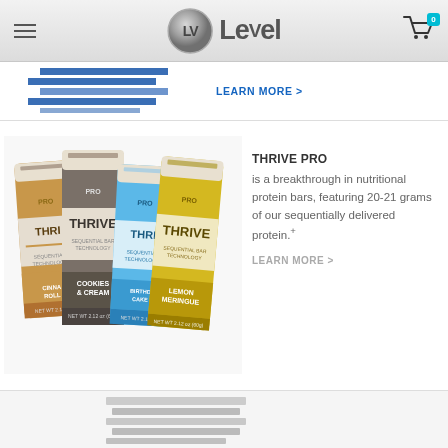Le-Vel navigation header with logo and cart
[Figure (screenshot): Blue decorative banner strip with stacked blue lines and LEARN MORE link]
LEARN MORE >
[Figure (photo): Four Thrive Pro protein bar wrappers: Cinnamon Roll, Cookies & Cream, Birthday Cake, Lemon Meringue]
THRIVE PRO is a breakthrough in nutritional protein bars, featuring 20-21 grams of our sequentially delivered protein.+
LEARN MORE >
[Figure (photo): Partial product image at bottom of page]